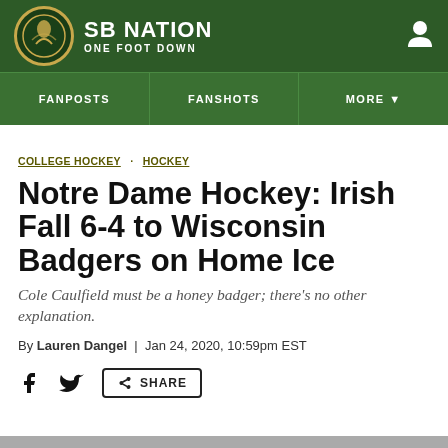SB NATION — ONE FOOT DOWN
FANPOSTS   FANSHOTS   MORE
COLLEGE HOCKEY  HOCKEY
Notre Dame Hockey: Irish Fall 6-4 to Wisconsin Badgers on Home Ice
Cole Caulfield must be a honey badger; there's no other explanation.
By Lauren Dangel  |  Jan 24, 2020, 10:59pm EST